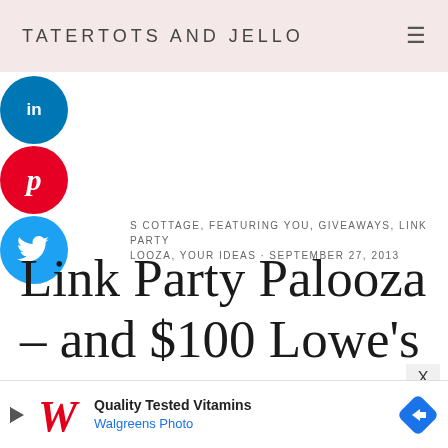TATERTOTS AND JELLO
[Figure (other): Social media share buttons - LinkedIn (blue circle), Pinterest (red circle), Twitter (blue circle) on left sidebar]
S COTTAGE, FEATURING YOU, GIVEAWAYS, LINK PARTY LOOZA, YOUR IDEAS · SEPTEMBER 27, 2013
Link Party Palooza – and $100 Lowe's Gift Card Giveaway!
Tatertots & Jello is a participant in the Amazon Services LLC Associates Program, an affiliate
[Figure (other): Walgreens advertisement banner: Quality Tested Vitamins - Walgreens Photo with Walgreens logo and blue diamond arrow icon]